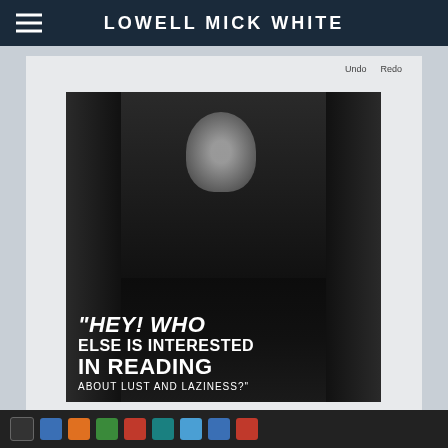LOWELL MICK WHITE
[Figure (screenshot): Screenshot of a website for Lowell Mick White showing a black and white photograph of a figure peering down from above in a dark hallway, overlaid with the quote: "HEY! WHO ELSE IS INTERESTED IN READING ABOUT LUST AND LAZINESS?"]